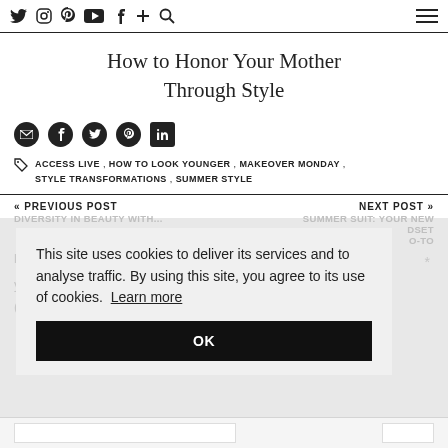Twitter, Instagram, Pinterest, YouTube, Facebook, Plus, Search, Menu
How to Honor Your Mother Through Style
Share icons: Email, Facebook, Twitter, Pinterest, LinkedIn
ACCESS LIVE , HOW TO LOOK YOUNGER , MAKEOVER MONDAY , STYLE TRANSFORMATIONS , SUMMER STYLE
« PREVIOUS POST    NEXT POST »
DIVERSITY IN BEAUTY WITH...    SUMMER SUIT: YOUR NEW    DSET    O-TO
This site uses cookies to deliver its services and to analyse traffic. By using this site, you agree to its use of cookies. Learn more
OK